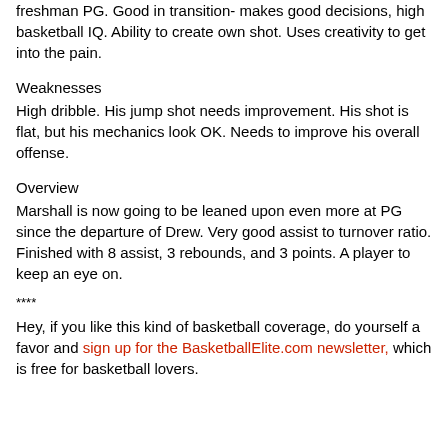freshman PG. Good in transition- makes good decisions, high basketball IQ. Ability to create own shot. Uses creativity to get into the pain.
Weaknesses
High dribble. His jump shot needs improvement. His shot is flat, but his mechanics look OK. Needs to improve his overall offense.
Overview
Marshall is now going to be leaned upon even more at PG since the departure of Drew. Very good assist to turnover ratio. Finished with 8 assist, 3 rebounds, and 3 points. A player to keep an eye on.
****
Hey, if you like this kind of basketball coverage, do yourself a favor and sign up for the BasketballElite.com newsletter, which is free for basketball lovers.